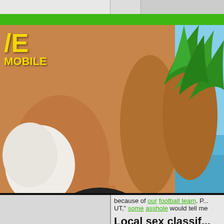[Figure (screenshot): Website screenshot showing a banner advertisement with a woman in a bikini sunbathing by a pool with palm trees, overlaid with yellow text logo 'VE MOBILE']
because of our football team. P... UT," some asshole would tell me
Local sex classif... vi...